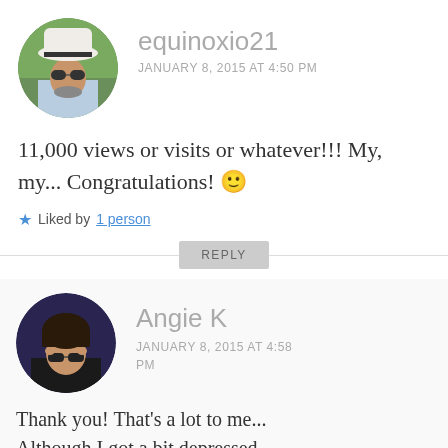[Figure (photo): Circular avatar photo of a man wearing a white hat and sunglasses, outdoors]
equinoxio21
JANUARY 8, 2015 AT 4:50 PM
11,000 views or visits or whatever!!! My, my... Congratulations! 🙂
★ Liked by 1 person
REPLY
[Figure (photo): Circular avatar photo of a young woman with dark hair wearing sunglasses, pulling them down]
Angie K
JANUARY 8, 2015 AT 4:58 PM
Thank you! That's a lot to me... Although I got a bit depressed